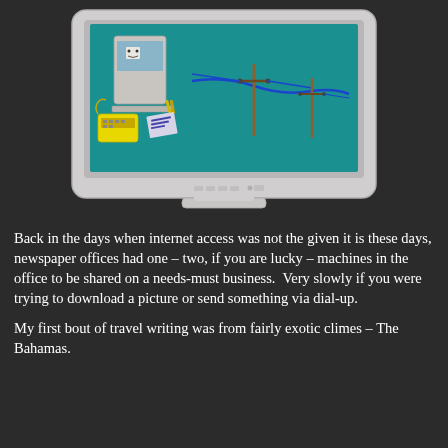[Figure (illustration): A vintage CRT computer monitor displaying a retro illustration of a desktop computer with a telephone and telegraph poles connected by wires on a teal background, representing early dial-up internet connectivity.]
Back in the days when internet access was not the given it is these days, newspaper offices had one – two, if you are lucky – machines in the office to be shared on a needs-must business.  Very slowly if you were trying to download a picture or send something via dial-up.

My first bout of travel writing was from fairly exotic climes – The Bahamas.